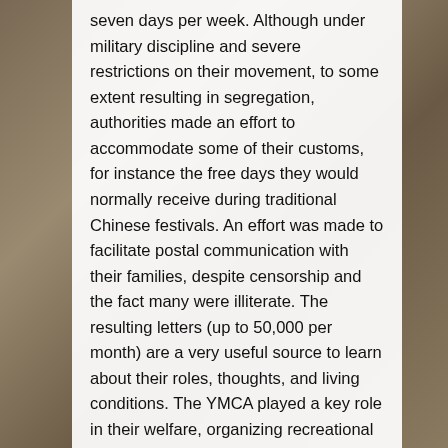seven days per week. Although under military discipline and severe restrictions on their movement, to some extent resulting in segregation, authorities made an effort to accommodate some of their customs, for instance the free days they would normally receive during traditional Chinese festivals. An effort was made to facilitate postal communication with their families, despite censorship and the fact many were illiterate. The resulting letters (up to 50,000 per month) are a very useful source to learn about their roles, thoughts, and living conditions. The YMCA played a key role in their welfare, organizing recreational activities and literacy classes. Hong Kong and US-educated James Yen created a 1,000-character vocabulary and the Chinese Workers' Weekly, also writing many letters for illiterate labourers.